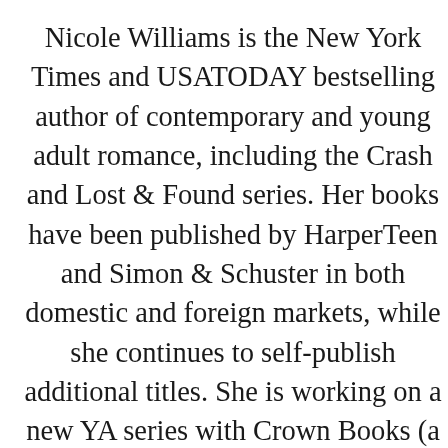Nicole Williams is the New York Times and USATODAY bestselling author of contemporary and young adult romance, including the Crash and Lost & Found series. Her books have been published by HarperTeen and Simon & Schuster in both domestic and foreign markets, while she continues to self-publish additional titles. She is working on a new YA series with Crown Books (a division of Random House) as well. She loves romance, from the sweet to the steamy, and writes stories about characters in search of their happily